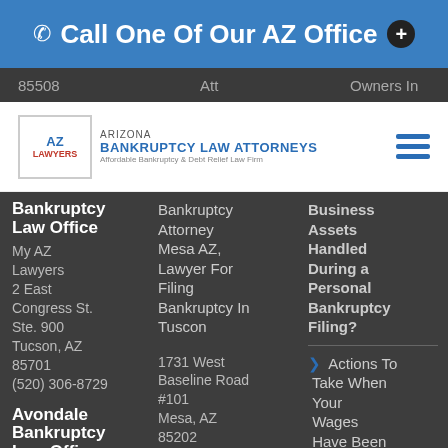Call One Of Our AZ Office +
85508  Att  Owners In
[Figure (logo): Arizona Bankruptcy Law Attorneys logo with AZ Lawyers icon and text: ARIZONA BANKRUPTCY LAW ATTORNEYS, Affordable Bankruptcy & Debt Relief Law Firm]
Bankruptcy Law Office
My AZ Lawyers
2 East Congress St. Ste. 900
Tucson, AZ 85701
(520) 306-8729
Avondale Bankruptcy Law Office
My AZ
Bankruptcy Attorney Mesa AZ, Lawyer For Filing Bankruptcy In Tuscon
1731 West Baseline Road #101
Mesa, AZ 85202
Business Assets Handled During a Personal Bankruptcy Filing?
> Actions To Take When Your Wages Have Been Garnished